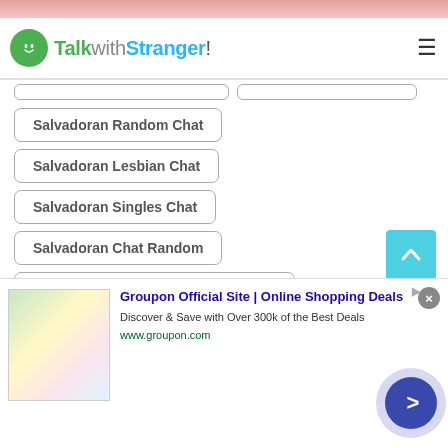TalkwithStranger!
Salvadoran Random Chat
Salvadoran Lesbian Chat
Salvadoran Singles Chat
Salvadoran Chat Random
Salvadoran Chit Chat with Strangers
Salvadoran Chat With Girls
Salvadoran Chat With Strangers
Salvadoran Local Chat
[Figure (other): Advertisement banner for Groupon Official Site showing online shopping deals with image collage and circular CTA button]